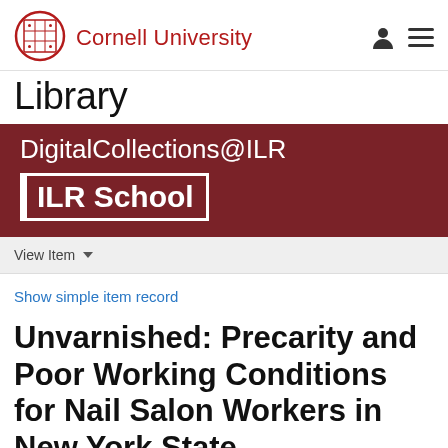Cornell University Library
[Figure (logo): Cornell University shield/crest logo in red outline with grid pattern]
DigitalCollections@ILR
ILR School
View Item
Show simple item record
Unvarnished: Precarity and Poor Working Conditions for Nail Salon Workers in New York State